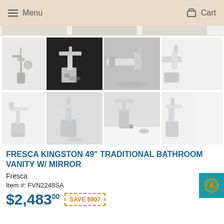Menu  Cart
[Figure (photo): Grid of 8 chrome bathroom faucet product photos in two rows of 4]
FRESCA KINGSTON 49" TRADITIONAL BATHROOM VANITY W/ MIRROR
Fresca
Item #: FVN2248SA
$2,483.00  SAVE $907